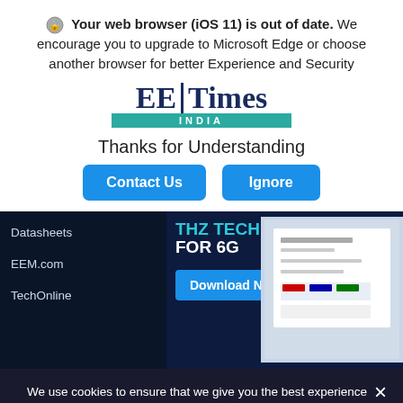🔒 Your web browser (iOS 11) is out of date. We encourage you to upgrade to Microsoft Edge or choose another browser for better Experience and Security
[Figure (logo): EE Times India logo with teal INDIA bar]
Thanks for Understanding
Contact Us | Ignore (buttons)
[Figure (screenshot): Dark blue ad banner for THz Technology for 6G with Download Now button and sidebar navigation items: Datasheets, EEM.com, TechOnline]
We use cookies to ensure that we give you the best experience on our website. If you continue to use this site we will assume that you are happy with it.
Ok (button)